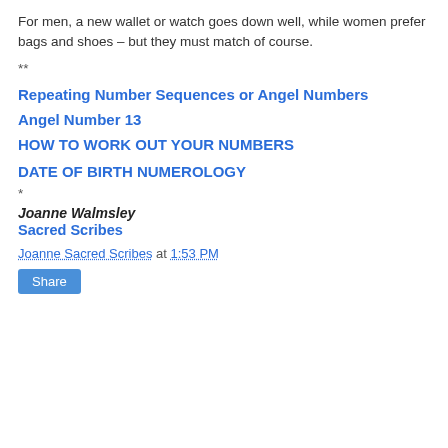For men, a new wallet or watch goes down well, while women prefer bags and shoes – but they must match of course.
**
Repeating Number Sequences or Angel Numbers
Angel Number 13
HOW TO WORK OUT YOUR NUMBERS
DATE OF BIRTH NUMEROLOGY
*
Joanne Walmsley
Sacred Scribes
Joanne Sacred Scribes at 1:53 PM
Share